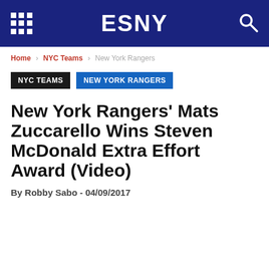ESNY
Home › NYC Teams › New York Rangers
NYC TEAMS   NEW YORK RANGERS
New York Rangers' Mats Zuccarello Wins Steven McDonald Extra Effort Award (Video)
By Robby Sabo - 04/09/2017